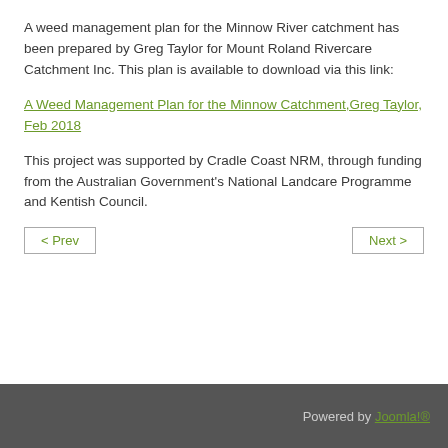A weed management plan for the Minnow River catchment has been prepared by Greg Taylor for Mount Roland Rivercare Catchment Inc. This plan is available to download via this link:
A Weed Management Plan for the Minnow Catchment,Greg Taylor, Feb 2018
This project was supported by Cradle Coast NRM, through funding from the Australian Government's National Landcare Programme and Kentish Council.
Powered by Joomla!®